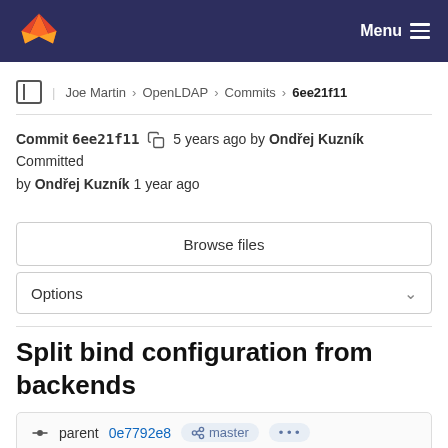GitLab — Menu
Joe Martin > OpenLDAP > Commits > 6ee21f11
Commit 6ee21f11  5 years ago by Ondřej Kuzník Committed by Ondřej Kuzník 1 year ago
Browse files
Options
Split bind configuration from backends
parent 0e7792e8  master  ...